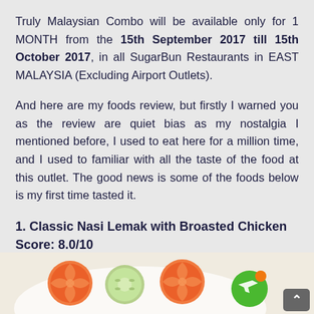Truly Malaysian Combo will be available only for 1 MONTH from the 15th September 2017 till 15th October 2017, in all SugarBun Restaurants in EAST MALAYSIA (Excluding Airport Outlets).
And here are my foods review, but firstly I warned you as the review are quiet bias as my nostalgia I mentioned before, I used to eat here for a million time, and I used to familiar with all the taste of the food at this outlet. The good news is some of the foods below is my first time tasted it.
1. Classic Nasi Lemak with Broasted Chicken Score: 8.0/10
[Figure (photo): Bottom strip showing food photo with tomato slices, cucumber slice, a circular logo with airplane icon, and a scroll-up button]